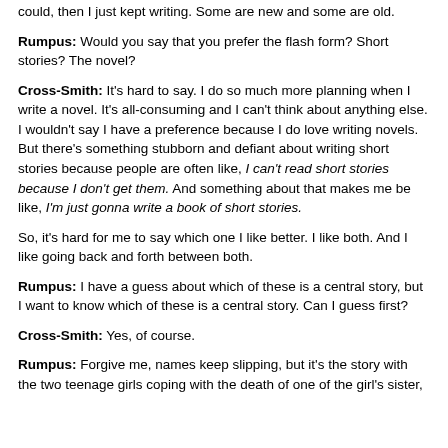could, then I just kept writing. Some are new and some are old.
Rumpus: Would you say that you prefer the flash form? Short stories? The novel?
Cross-Smith: It's hard to say. I do so much more planning when I write a novel. It's all-consuming and I can't think about anything else. I wouldn't say I have a preference because I do love writing novels. But there's something stubborn and defiant about writing short stories because people are often like, I can't read short stories because I don't get them. And something about that makes me be like, I'm just gonna write a book of short stories.
So, it's hard for me to say which one I like better. I like both. And I like going back and forth between both.
Rumpus: I have a guess about which of these is a central story, but I want to know which of these is a central story. Can I guess first?
Cross-Smith: Yes, of course.
Rumpus: Forgive me, names keep slipping, but it's the story with the two teenage girls coping with the death of one of the girl's sister,